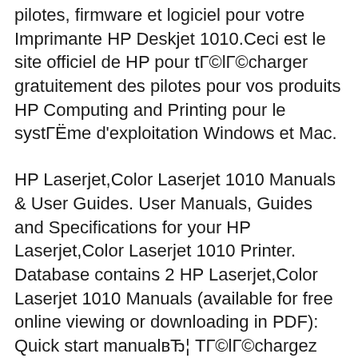pilotes, firmware et logiciel pour votre Imprimante HP Deskjet 1010.Ceci est le site officiel de HP pour tГ©lГ©charger gratuitement des pilotes pour vos produits HP Computing and Printing pour le systГЁme d'exploitation Windows et Mac.
HP Laserjet,Color Laserjet 1010 Manuals & User Guides. User Manuals, Guides and Specifications for your HP Laserjet,Color Laserjet 1010 Printer. Database contains 2 HP Laserjet,Color Laserjet 1010 Manuals (available for free online viewing or downloading in PDF): Quick start manualвЂ¦ ТГ©lГ©chargez les dernier pilotes, firmware et logiciel pour votre